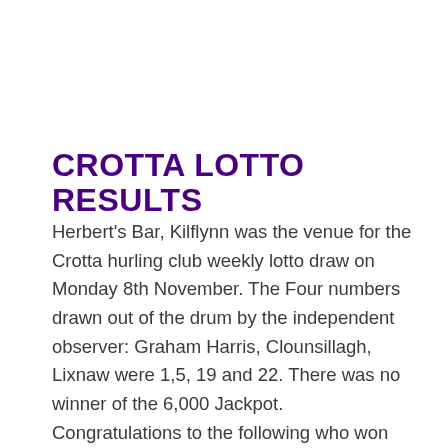CROTTA LOTTO RESULTS
Herbert's Bar, Kilflynn was the venue for the Crotta hurling club weekly lotto draw on Monday 8th November. The Four numbers drawn out of the drum by the independent observer: Graham Harris, Clounsillagh, Lixnaw were 1,5, 19 and 22. There was no winner of the 6,000 Jackpot. Congratulations to the following who won €35 in the lucky dip draw:
Michelle O'Donoghue, Azuqueca de Henares, Guadalajara, Spain and Garrynagore, Lixnaw,